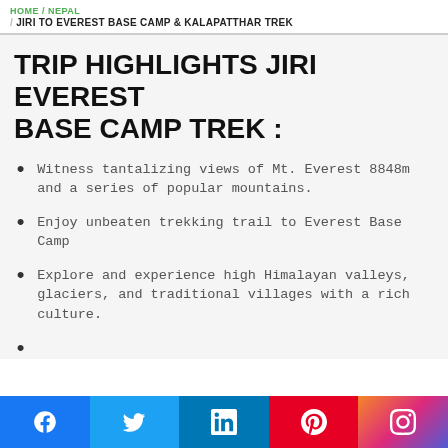HOME / NEPAL / JIRI TO EVEREST BASE CAMP & KALAPATTHAR TREK
TRIP HIGHLIGHTS JIRI EVEREST BASE CAMP TREK :
Witness tantalizing views of Mt. Everest 8848m and a series of popular mountains.
Enjoy unbeaten trekking trail to Everest Base Camp
Explore and experience high Himalayan valleys, glaciers, and traditional villages with a rich culture.